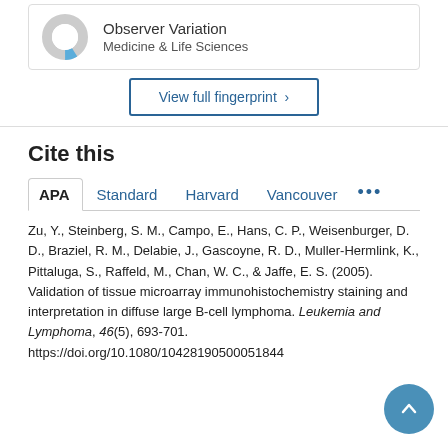[Figure (donut-chart): Donut chart mostly gray with small blue segment, representing Observer Variation in Medicine & Life Sciences]
Observer Variation
Medicine & Life Sciences
View full fingerprint >
Cite this
APA  Standard  Harvard  Vancouver  ...
Zu, Y., Steinberg, S. M., Campo, E., Hans, C. P., Weisenburger, D. D., Braziel, R. M., Delabie, J., Gascoyne, R. D., Muller-Hermlink, K., Pittaluga, S., Raffeld, M., Chan, W. C., & Jaffe, E. S. (2005). Validation of tissue microarray immunohistochemistry staining and interpretation in diffuse large B-cell lymphoma. Leukemia and Lymphoma, 46(5), 693-701. https://doi.org/10.1080/10428190500051844